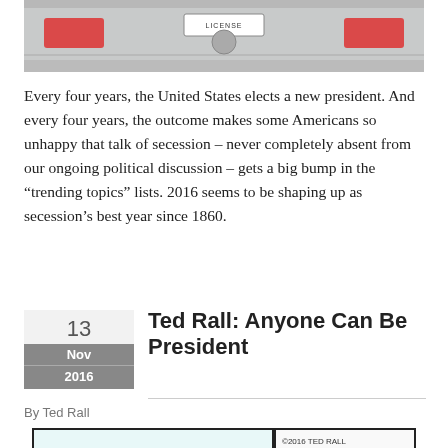[Figure (photo): Photo of the rear of a silver car, showing tail lights and a license plate]
Every four years, the United States elects a new president. And every four years, the outcome makes some Americans so unhappy that talk of secession – never completely absent from our ongoing political discussion – gets a big bump in the “trendingtopics” lists. 2016 seems to be shaping up as secession’s best year since 1860.
Ted Rall: Anyone Can Be President
By Ted Rall
[Figure (illustration): Ted Rall comic strip panel. Copyright 2016 Ted Rall. Shows a yellow speech bubble reading IN AMERICA, ANYONE with a partial figure visible.]